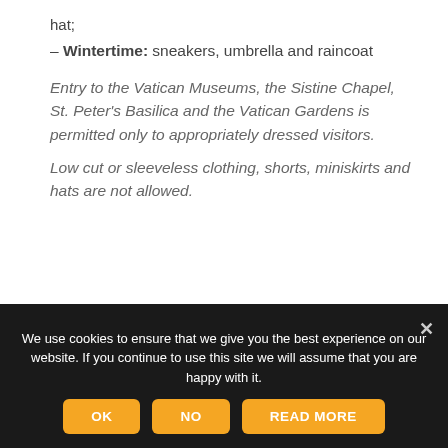hat;
– Wintertime: sneakers, umbrella and raincoat
Entry to the Vatican Museums, the Sistine Chapel, St. Peter's Basilica and the Vatican Gardens is permitted only to appropriately dressed visitors.
Low cut or sleeveless clothing, shorts, miniskirts and hats are not allowed.
OPENING HOURS
We use cookies to ensure that we give you the best experience on our website. If you continue to use this site we will assume that you are happy with it.